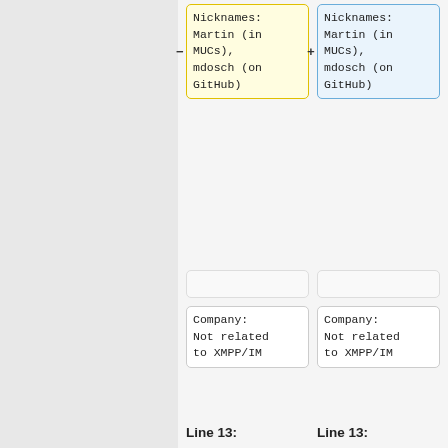Nicknames:
Martin (in MUCs),
mdosch (on GitHub)
Nicknames:
Martin (in MUCs),
mdosch (on GitHub)
Company:
Not related
to XMPP/IM
Company:
Not related
to XMPP/IM
Line 13:
Line 13:
=== XMPP
Background
===
=== XMPP
Background
===
I am a user
of XMPP
since ~2004
and am
operating
my own
I am a user
of XMPP
since ~2004
and am
operating
my own